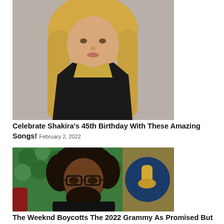[Figure (photo): Photo of Shakira, a woman with long blonde hair wearing a black blazer over a gold/floral top, against a neutral background.]
Celebrate Shakira's 45th Birthday With These Amazing Songs! February 2, 2022
[Figure (photo): Photo of The Weeknd, a man with a large natural afro and glasses, smiling, in front of a green floral wall with a Grammy award logo/statue visible in the background.]
The Weeknd Boycotts The 2022 Grammy As Promised But Still Win...